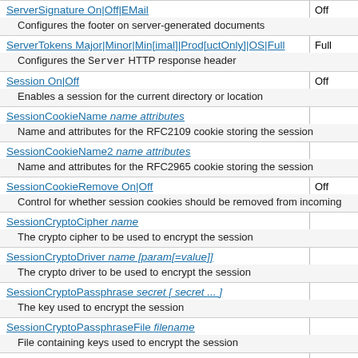| Directive | Default |
| --- | --- |
| ServerSignature On|Off|EMail | Off |
| Configures the footer on server-generated documents |  |
| ServerTokens Major|Minor|Min[imal]|Prod[uctOnly]|OS|Full | Full |
| Configures the Server HTTP response header |  |
| Session On|Off | Off |
| Enables a session for the current directory or location |  |
| SessionCookieName name attributes |  |
| Name and attributes for the RFC2109 cookie storing the session |  |
| SessionCookieName2 name attributes |  |
| Name and attributes for the RFC2965 cookie storing the session |  |
| SessionCookieRemove On|Off | Off |
| Control for whether session cookies should be removed from incoming |  |
| SessionCryptoCipher name |  |
| The crypto cipher to be used to encrypt the session |  |
| SessionCryptoDriver name [param[=value]] |  |
| The crypto driver to be used to encrypt the session |  |
| SessionCryptoPassphrase secret [ secret ... ] |  |
| The key used to encrypt the session |  |
| SessionCryptoPassphraseFile filename |  |
| File containing keys used to encrypt the session |  |
| SessionDBDCookieName name attributes |  |
| Name and attributes for the RFC2109 cookie storing the session ID |  |
| SessionDBDCookieName2 name attributes |  |